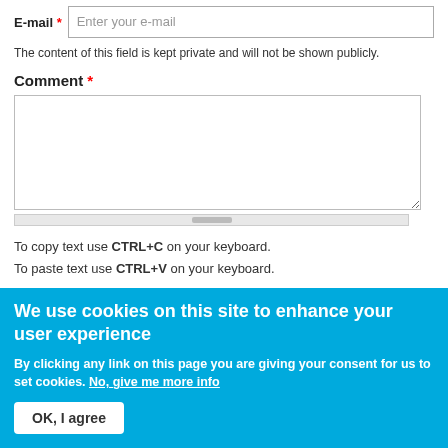E-mail * [Enter your e-mail]
The content of this field is kept private and will not be shown publicly.
Comment *
To copy text use CTRL+C on your keyboard.
To paste text use CTRL+V on your keyboard.
We use cookies on this site to enhance your user experience
By clicking any link on this page you are giving your consent for us to set cookies. No, give me more info
OK, I agree